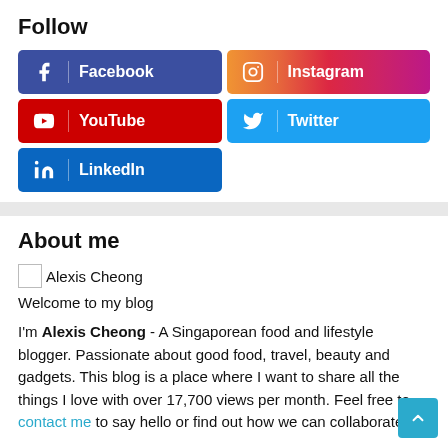Follow
[Figure (infographic): Social media follow buttons: Facebook (dark blue), Instagram (gradient pink/orange), YouTube (red), Twitter (light blue), LinkedIn (blue)]
About me
Alexis Cheong
Welcome to my blog
I'm Alexis Cheong - A Singaporean food and lifestyle blogger. Passionate about good food, travel, beauty and gadgets. This blog is a place where I want to share all the things I love with over 17,700 views per month. Feel free to contact me to say hello or find out how we can collaborate.